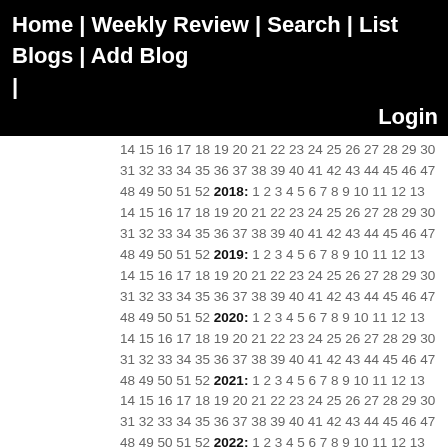Home | Weekly Review | Search | List Blogs | Add Blog |
Login
14 15 16 17 18 19 20 21 22 23 24 25 26 27 28 29 30 31 32 33 34 35 36 37 38 39 40 41 42 43 44 45 46 47 48 49 50 51 52 2018: 1 2 3 4 5 6 7 8 9 10 11 12 13 14 15 16 17 18 19 20 21 22 23 24 25 26 27 28 29 30 31 32 33 34 35 36 37 38 39 40 41 42 43 44 45 46 47 48 49 50 51 52 2019: 1 2 3 4 5 6 7 8 9 10 11 12 13 14 15 16 17 18 19 20 21 22 23 24 25 26 27 28 29 30 31 32 33 34 35 36 37 38 39 40 41 42 43 44 45 46 47 48 49 50 51 52 2020: 1 2 3 4 5 6 7 8 9 10 11 12 13 14 15 16 17 18 19 20 21 22 23 24 25 26 27 28 29 30 31 32 33 34 35 36 37 38 39 40 41 42 43 44 45 46 47 48 49 50 51 52 2021: 1 2 3 4 5 6 7 8 9 10 11 12 13 14 15 16 17 18 19 20 21 22 23 24 25 26 27 28 29 30 31 32 33 34 35 36 37 38 39 40 41 42 43 44 45 46 47 48 49 50 51 52 2022: 1 2 3 4 5 6 7 8 9 10 11 12 13 14 15 16 17 18 19 20 21 22 23 24 25 26 27 28 29 30 31 32 33
Blogs:
Most active blogs:
Gunnars Geo-Blog (10 posts)
Ontario-geofish (10 posts)
JOIDES Resolution